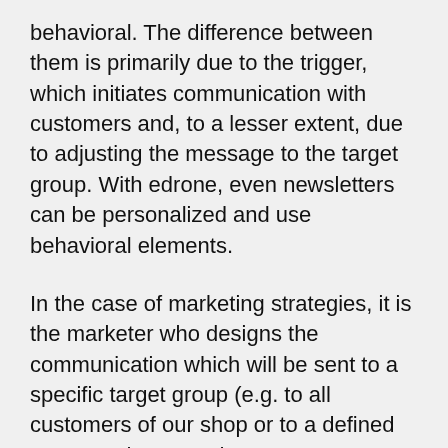behavioral. The difference between them is primarily due to the trigger, which initiates communication with customers and, to a lesser extent, due to adjusting the message to the target group. With edrone, even newsletters can be personalized and use behavioral elements.
In the case of marketing strategies, it is the marketer who designs the communication which will be sent to a specific target group (e.g. to all customers of our shop or to a defined group such as trendsetters or customers who spend the most). The information which the shop's customers will receive is the same for everyone, the only difference being certain dynamic parts of an e-mail such as the language version. It is also